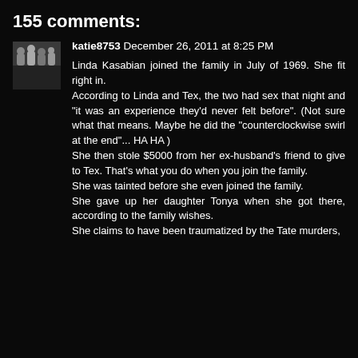155 comments:
[Figure (photo): Small grayscale avatar photo showing a group of people]
katie8753 December 26, 2011 at 8:25 PM
Linda Kasabian joined the family in July of 1969. She fit right in.
According to Linda and Tex, the two had sex that night and "it was an experience they'd never felt before". (Not sure what that means. Maybe he did the "counterclockwise swirl at the end"... HA HA )
She then stole $5000 from her ex-husband's friend to give to Tex. That's what you do when you join the family.
She was tainted before she even joined the family.
She gave up her daughter Tonya when she got there, according to the family wishes.
She claims to have been traumatized by the Tate murders,